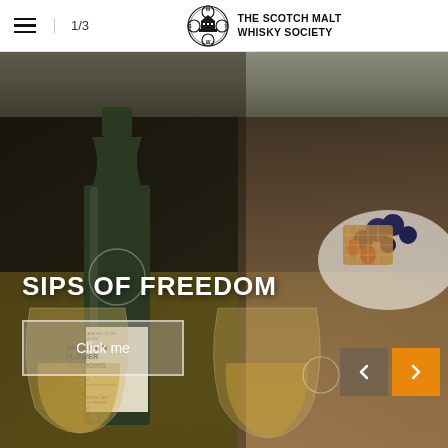1/3
[Figure (logo): The Scotch Malt Whisky Society logo with ornate circular emblem]
[Figure (photo): Whisky bottle labeled 'Vanilla in Flower Meadows' (Society Cask No. 12.34, Bottle 1 of 214) alongside two glasses of whisky and a plate of berries/pastries on a wooden surface. Text overlay reads 'SIPS OF FREEDOM' with a 'Click me' button and navigation arrows.]
SIPS OF FREEDOM
Click me